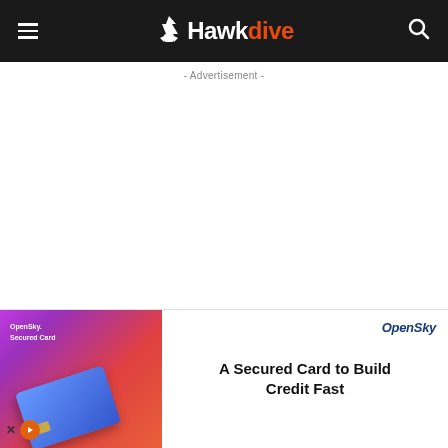Hawkdive
- Advertisement -
[Figure (illustration): Blank white advertisement area placeholder]
[Figure (illustration): Collapse chevron button bar]
[Figure (illustration): OpenSky Secured Card advertisement banner with blue credit card on gradient background. Text: A Secured Card to Build Credit Fast. OpenSky logo on right.]